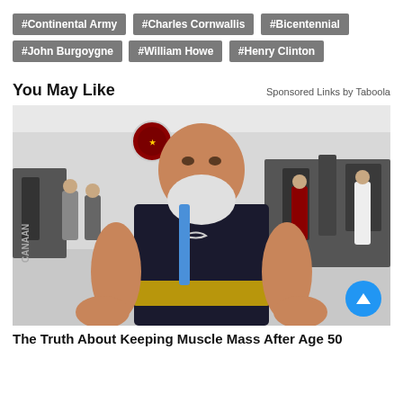#Continental Army
#Charles Cornwallis
#Bicentennial
#John Burgoygne
#William Howe
#Henry Clinton
You May Like
Sponsored Links by Taboola
[Figure (photo): An elderly muscular man with a white beard wearing a black Nike sleeveless shirt and a gold weight belt, posing in a gym with exercise equipment and other gym-goers visible in the background.]
The Truth About Keeping Muscle Mass After Age 50